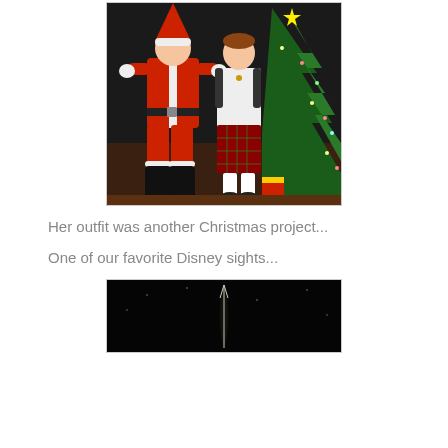[Figure (photo): Two children dressed up for Christmas — one in a Santa Claus costume (red suit, black boots, white trim) and one in a white top with a plaid Christmas skirt, standing in front of a decorated Christmas tree with lights and ornaments on a wooden floor.]
Her outfit was another Christmas project...
One of our favorite Disney sights...
[Figure (photo): Dark nighttime photo showing what appears to be a Cinderella castle spire or firework streak illuminated against a black sky at Disney.]